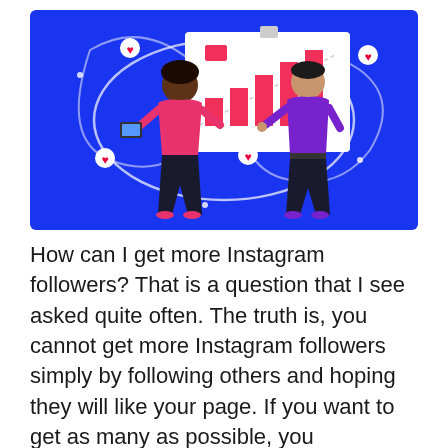[Figure (illustration): Illustration of two people presenting a bar chart on a whiteboard against a bright blue background with white swirling lines and red heart icons scattered around. One person wearing pink holds a tablet, the other wearing purple points to the chart showing rising pink bars.]
How can I get more Instagram followers? That is a question that I see asked quite often. The truth is, you cannot get more Instagram followers simply by following others and hoping they will like your page. If you want to get as many as possible, you